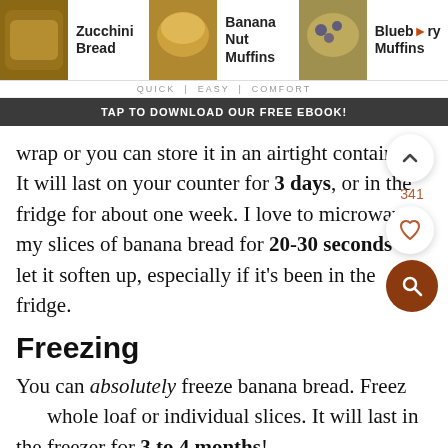[Figure (screenshot): Navigation bar with three food items: Zucchini Bread, Banana Nut Muffins, and Blueberry Muffins, each with a thumbnail image and label]
QUICK | EASY | COMFORT
TAP TO DOWNLOAD OUR FREE EBOOK!
wrap or you can store it in an airtight container. It will last on your counter for 3 days, or in the fridge for about one week. I love to microwave my slices of banana bread for 20-30 seconds to let it soften up, especially if it's been in the fridge.
Freezing
You can absolutely freeze banana bread. Freeze the whole loaf or individual slices. It will last in the freezer for 3 to 4 months!
Wrap the loaf or the individual slices extremely well with plastic wrap, even if